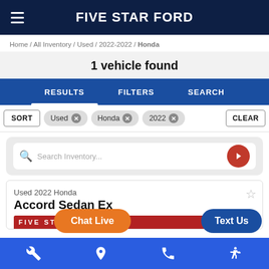FIVE STAR FORD
Home / All Inventory / Used / 2022-2022 / Honda
1 vehicle found
RESULTS  FILTERS  SEARCH
SORT  Used ×  Honda ×  2022 ×  CLEAR
Search Inventory...
Used 2022 Honda
Accord Sedan EX
Chat Live
Text Us